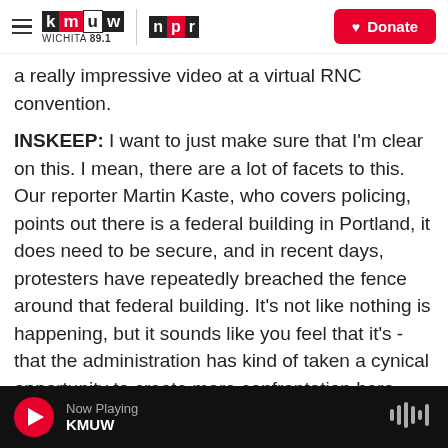KMUW Wichita 89.1 | NPR | Donate
a really impressive video at a virtual RNC convention.
INSKEEP: I want to just make sure that I'm clear on this. I mean, there are a lot of facets to this. Our reporter Martin Kaste, who covers policing, points out there is a federal building in Portland, it does need to be secure, and in recent days, protesters have repeatedly breached the fence around that federal building. It's not like nothing is happening, but it sounds like you feel that it's - that the administration has kind of taken a cynical opportunity to create more confrontation here.
Now Playing KMUW